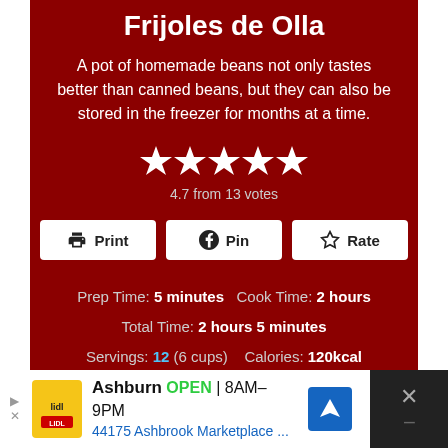Frijoles de Olla
A pot of homemade beans not only tastes better than canned beans, but they can also be stored in the freezer for months at a time.
[Figure (infographic): Five white star rating icons]
4.7 from 13 votes
Print  Pin  Rate (buttons)
Prep Time: 5 minutes  Cook Time: 2 hours
Total Time: 2 hours 5 minutes
Servings: 12 (6 cups)  Calories: 120kcal
Author: Patrick Calhoun | Mexican Please
[Figure (infographic): Advertisement bar: Lidl store in Ashburn OPEN 8AM-9PM, 44175 Ashbrook Marketplace..., with navigation icon and close button]